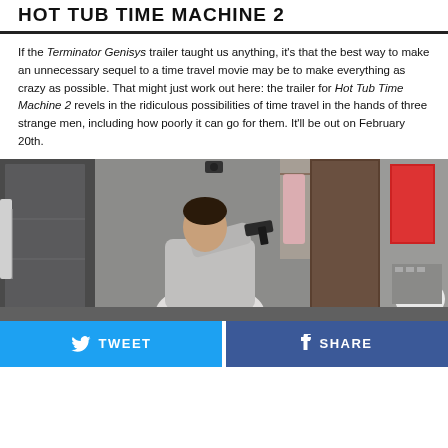HOT TUB TIME MACHINE 2
If the Terminator Genisys trailer taught us anything, it's that the best way to make an unnecessary sequel to a time travel movie may be to make everything as crazy as possible. That might just work out here: the trailer for Hot Tub Time Machine 2 revels in the ridiculous possibilities of time travel in the hands of three strange men, including how poorly it can go for them. It'll be out on February 20th.
[Figure (photo): A still from Hot Tub Time Machine 2 showing a person holding a gun in what appears to be a hotel room or bathroom setting.]